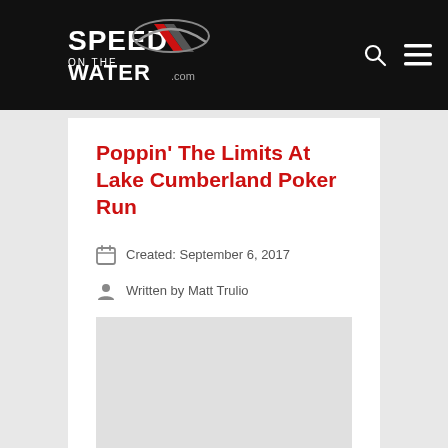[Figure (logo): Speed On The Water .com logo in white on black background]
Poppin' The Limits At Lake Cumberland Poker Run
Created: September 6, 2017
Written by Matt Trulio
Look for a stunning—and rare—refreshed Outerlimits 44 GTX at this weekend's poker run in Kentucky.